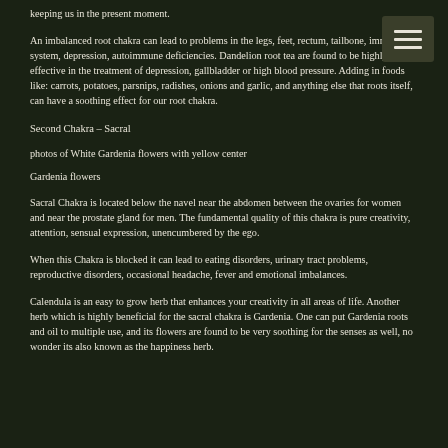keeping us in the present moment.
An imbalanced root chakra can lead to problems in the legs, feet, rectum, tailbone, immune system, depression, autoimmune deficiencies. Dandelion root tea are found to be highly effective in the treatment of depression, gallbladder or high blood pressure. Adding in foods like: carrots, potatoes, parsnips, radishes, onions and garlic, and anything else that roots itself, can have a soothing effect for our root chakra.
Second Chakra – Sacral
photos of White Gardenia flowers with yellow center
Gardenia flowers
Sacral Chakra is located below the navel near the abdomen between the ovaries for women and near the prostate gland for men. The fundamental quality of this chakra is pure creativity, attention, sensual expression, unencumbered by the ego.
When this Chakra is blocked it can lead to eating disorders, urinary tract problems, reproductive disorders, occasional headache, fever and emotional imbalances.
Calendula is an easy to grow herb that enhances your creativity in all areas of life. Another herb which is highly beneficial for the sacral chakra is Gardenia. One can put Gardenia roots and oil to multiple use, and its flowers are found to be very soothing for the senses as well, no wonder its also known as the happiness herb.